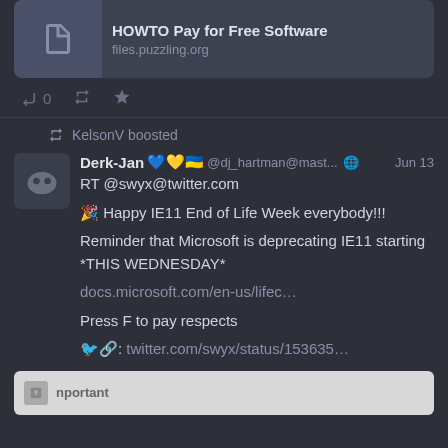[Figure (screenshot): Link preview card showing document icon with title 'HOWTO Pay for Free Software' and URL 'files.puzzling.org']
↩ 0  🔁  ★
🔁 KelsonV boosted
Derk-Jan 💙💛🇺🇦 @dj_hartman@mast... 🌐 Jun 13
RT @swyx@twitter.com

🎉 Happy IE11 End of Life Week everybody!!!

Reminder that Microsoft is deprecating IE11 starting *THIS WEDNESDAY*

docs.microsoft.com/en-us/lifec…

Press F to pay respects

🐦🔗: twitter.com/swyx/status/153635…
[Figure (screenshot): Embedded tweet preview at bottom with small icon and text 'important']